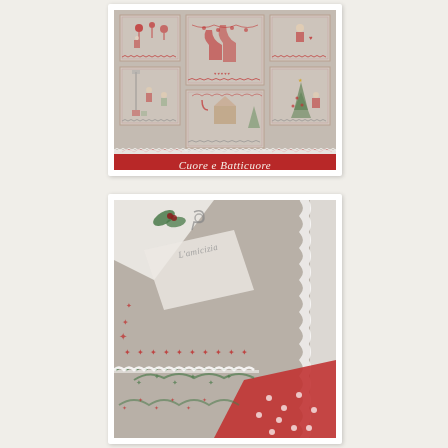[Figure (photo): Cross-stitch sampler pattern booklet cover titled 'Cuore e Batticuore' showing multiple Christmas-themed embroidery panels with Santa, Christmas trees, stockings, and decorative red and grey stitching on linen fabric, with a red banner at the bottom bearing the title in white italic script.]
[Figure (photo): Close-up detail of a cross-stitch project on linen fabric showing Christmas garland stitching in red and green, with text 'L'amicizia' visible, white lace trim and a red polka-dot fabric corner visible.]